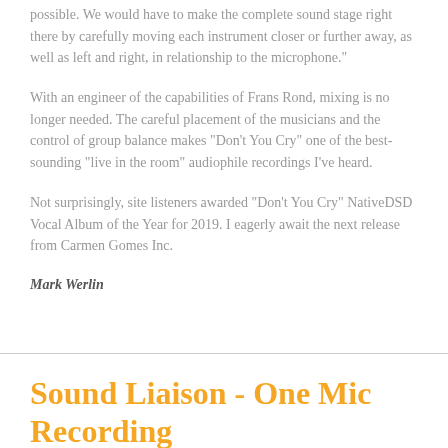possible. We would have to make the complete sound stage right there by carefully moving each instrument closer or further away, as well as left and right, in relationship to the microphone."
With an engineer of the capabilities of Frans Rond, mixing is no longer needed. The careful placement of the musicians and the control of group balance makes "Don't You Cry" one of the best-sounding "live in the room" audiophile recordings I've heard.
Not surprisingly, site listeners awarded "Don't You Cry" NativeDSD Vocal Album of the Year for 2019. I eagerly await the next release from Carmen Gomes Inc.
Mark Werlin
Sound Liaison - One Mic Recording